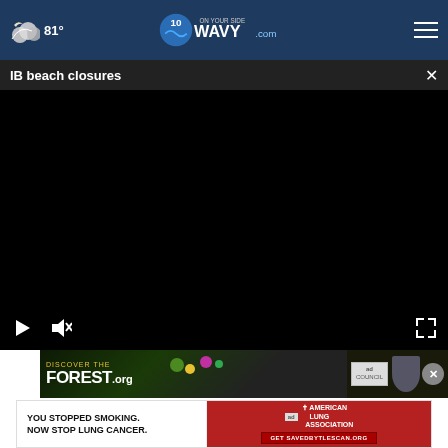☁ 81° | WAVY.com 10 On Your Side
IB beach closures
[Figure (screenshot): Black video player area with play, mute, and fullscreen controls]
[Figure (photo): Discover the Forest.org advertisement banner with colorful forest imagery, Ad Council badge, and close button]
[Figure (photo): American Lung Association advertisement: YOU STOPPED SMOKING. NOW STOP LUNG CANCER. with Get SAVEDBYTLESCAN.ORG call to action button]